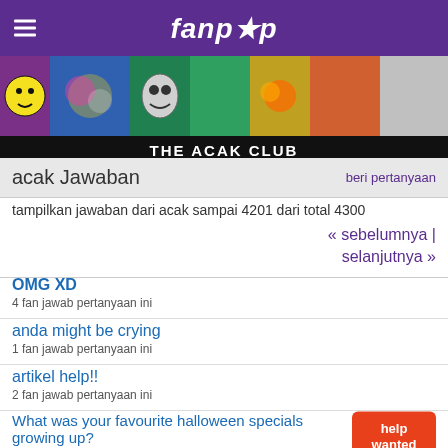fanpop
[Figure (photo): Fanpop banner with colorful images including smiley, skulls, animals, and various artworks]
THE ACAK CLUB
acak Jawaban   beri pertanyaan
tampilkan jawaban dari acak sampai 4201 dari total 4300
« sebelumnya | selanjutnya »
OMG XD
4 fan jawab pertanyaan ini
anda might be crying
1 fan jawab pertanyaan ini
artikel help!!
2 fan jawab pertanyaan ini
What was your favourite halloween specials growing up?
tidak ada yang menjawab pertanyaan ini
Do anda become defensive atau secretive when anyone...